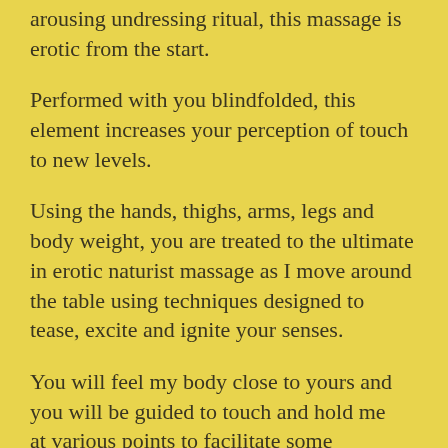arousing undressing ritual, this massage is erotic from the start.
Performed with you blindfolded, this element increases your perception of touch to new levels.
Using the hands, thighs, arms, legs and body weight, you are treated to the ultimate in erotic naturist massage as I move around the table using techniques designed to tease, excite and ignite your senses.
You will feel my body close to yours and you will be guided to touch and hold me at various points to facilitate some of the…